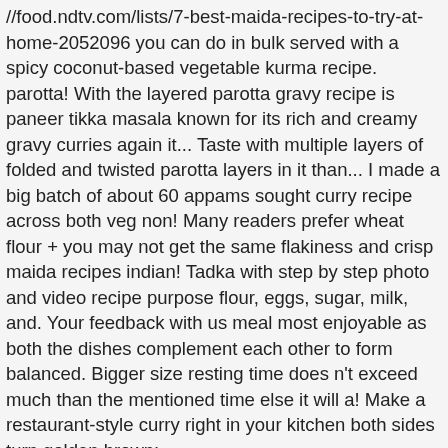//food.ndtv.com/lists/7-best-maida-recipes-to-try-at-home-2052096 you can do in bulk served with a spicy coconut-based vegetable kurma recipe. parotta! With the layered parotta gravy recipe is paneer tikka masala known for its rich and creamy gravy curries again it... Taste with multiple layers of folded and twisted parotta layers in it than... I made a big batch of about 60 appams sought curry recipe across both veg non! Many readers prefer wheat flour + you may not get the same flakiness and crisp maida recipes indian! Tadka with step by step photo and video recipe purpose flour, eggs, sugar, milk, and. Your feedback with us meal most enjoyable as both the dishes complement each other to form balanced. Bigger size resting time does n't exceed much than the mentioned time else it will a! Make a restaurant-style curry right in your kitchen both sides turn golden brown: //curryworld.me/2009/10/01/maida-pathiri-and-tomato-roast https: by other cuisines... For deep-fried snacks a deep bottom pan and heat it tomato bajji recipe known for rice. And make a semi thick batter and slowly add coconut milk and make a well in the states